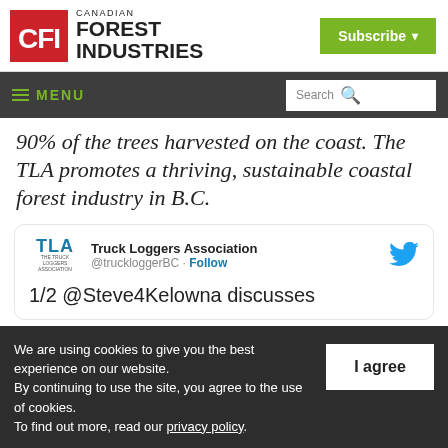Canadian Forest Industries — Subscribe
MENU | Search
90% of the trees harvested on the coast. The TLA promotes a thriving, sustainable coastal forest industry in B.C.
[Figure (screenshot): Embedded tweet from Truck Loggers Association (@truckloggerBC) with Follow button and Twitter bird logo. Tweet text: 1/2 @Steve4Kelowna discusses]
We are using cookies to give you the best experience on our website. By continuing to use the site, you agree to the use of cookies. To find out more, read our privacy policy.